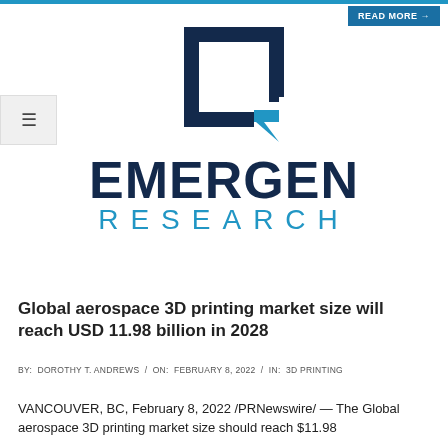READ MORE →
[Figure (logo): Emergen Research logo: square bracket icon in dark navy and teal, with EMERGEN in large bold dark navy text and RESEARCH in spaced teal text below]
Global aerospace 3D printing market size will reach USD 11.98 billion in 2028
BY: DOROTHY T. ANDREWS / ON: FEBRUARY 8, 2022 / IN: 3D PRINTING
VANCOUVER, BC, February 8, 2022 /PRNewswire/ — The Global aerospace 3D printing market size should reach $11.98